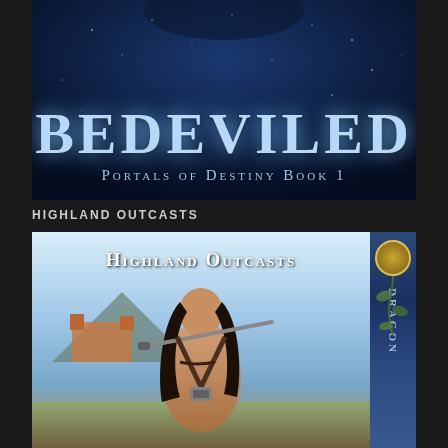[Figure (illustration): Book cover for 'Bedeviled: Portals of Destiny Book 1' — dark blue fantasy cover with large silver-blue title text 'BEDEVILED' and subtitle 'PORTALS OF DESTINY BOOK 1' in smaller spaced lettering. Dark mystical background with celestial/starry imagery.]
HIGHLAND OUTCASTS
[Figure (illustration): Book cover for 'Highland Outcasts' — shows a muscular bare-chested warrior man with long dark hair holding a sword diagonally across his back. Background shows a castle and blue skies. Blue decorative spine on the right side with a gold emblem and vine motif. Title 'HIGHLAND OUTCASTS' appears at top of cover.]